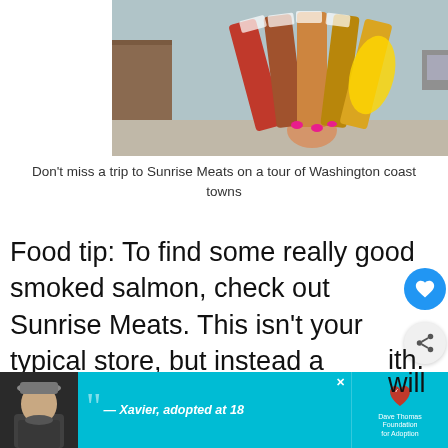[Figure (photo): Person holding packages of smoked salmon and meats outdoors near a building, with packages fanned out displaying labels]
Don't miss a trip to Sunrise Meats on a tour of Washington coast towns
Food tip: To find some really good smoked salmon, check out Sunrise Meats. This isn't your typical store, but instead a butchery that happens to have a few fridges filled with fresh meats and fish! We stocked up on
[Figure (photo): WHAT'S NEXT thumbnail — 7 Things To Do in Ocean... promotional widget with thumbnail image of waterway scene]
[Figure (infographic): Advertisement banner: person in hat with quote '— Xavier, adopted at 18', Dave Thomas Foundation for Adoption logo on cyan background]